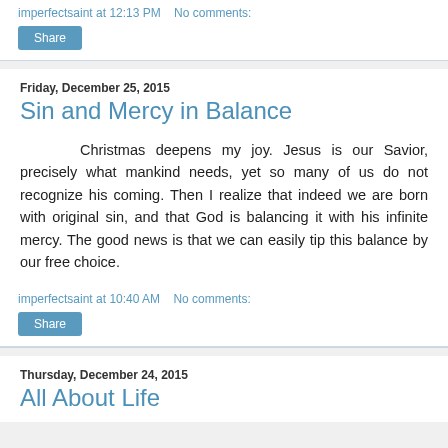imperfectsaint at 12:13 PM   No comments:
Share
Friday, December 25, 2015
Sin and Mercy in Balance
Christmas deepens my joy. Jesus is our Savior, precisely what mankind needs, yet so many of us do not recognize his coming. Then I realize that indeed we are born with original sin, and that God is balancing it with his infinite mercy. The good news is that we can easily tip this balance by our free choice.
imperfectsaint at 10:40 AM   No comments:
Share
Thursday, December 24, 2015
All About Life